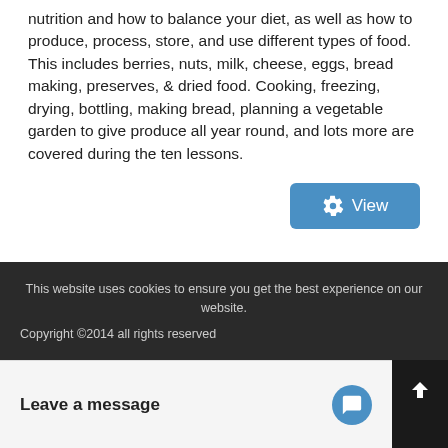nutrition and how to balance your diet, as well as how to produce, process, store, and use different types of food. This includes berries, nuts, milk, cheese, eggs, bread making, preserves, & dried food. Cooking, freezing, drying, bottling, making bread, planning a vegetable garden to give produce all year round, and lots more are covered during the ten lessons.
[Figure (other): A blue 'View' button with a settings/gear icon on the left]
This website uses cookies to ensure you get the best experience on our website. Copyright ©2014 all rights reserved
Leave a message